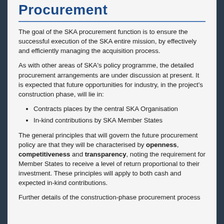Procurement
The goal of the SKA procurement function is to ensure the successful execution of the SKA entire mission, by effectively and efficiently managing the acquisition process.
As with other areas of SKA's policy programme, the detailed procurement arrangements are under discussion at present. It is expected that future opportunities for industry, in the project's construction phase, will lie in:
Contracts places by the central SKA Organisation
In-kind contributions by SKA Member States
The general principles that will govern the future procurement policy are that they will be characterised by openness, competitiveness and transparency, noting the requirement for Member States to receive a level of return proportional to their investment. These principles will apply to both cash and expected in-kind contributions.
Further details of the construction-phase procurement process